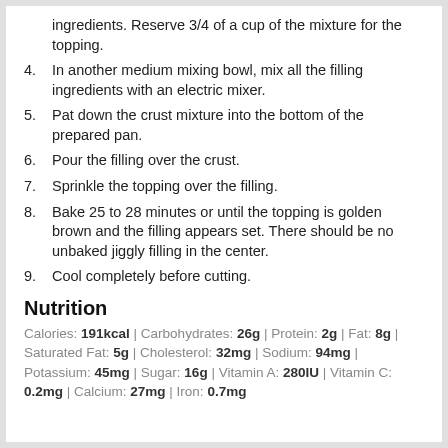ingredients. Reserve 3/4 of a cup of the mixture for the topping.
4. In another medium mixing bowl, mix all the filling ingredients with an electric mixer.
5. Pat down the crust mixture into the bottom of the prepared pan.
6. Pour the filling over the crust.
7. Sprinkle the topping over the filling.
8. Bake 25 to 28 minutes or until the topping is golden brown and the filling appears set. There should be no unbaked jiggly filling in the center.
9. Cool completely before cutting.
Nutrition
Calories: 191kcal | Carbohydrates: 26g | Protein: 2g | Fat: 8g | Saturated Fat: 5g | Cholesterol: 32mg | Sodium: 94mg | Potassium: 45mg | Sugar: 16g | Vitamin A: 280IU | Vitamin C: 0.2mg | Calcium: 27mg | Iron: 0.7mg